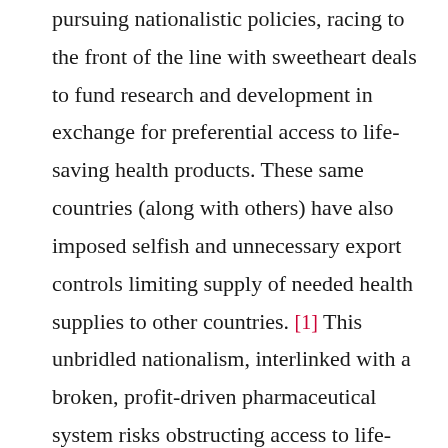pursuing nationalistic policies, racing to the front of the line with sweetheart deals to fund research and development in exchange for preferential access to life-saving health products. These same countries (along with others) have also imposed selfish and unnecessary export controls limiting supply of needed health supplies to other countries. [1] This unbridled nationalism, interlinked with a broken, profit-driven pharmaceutical system risks obstructing access to life-saving medicines worldwide. This should be a moment for transformative, systemic change, but instead of an innovative response and true global solidarity we're seeing the same old business as usual.